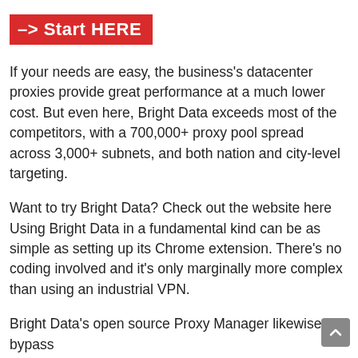–> Start HERE
If your needs are easy, the business's datacenter proxies provide great performance at a much lower cost. But even here, Bright Data exceeds most of the competitors, with a 700,000+ proxy pool spread across 3,000+ subnets, and both nation and city-level targeting.
Want to try Bright Data? Check out the website here Using Bright Data in a fundamental kind can be as simple as setting up its Chrome extension. There's no coding involved and it's only marginally more complex than using an industrial VPN.
Bright Data's open source Proxy Manager likewise bypass